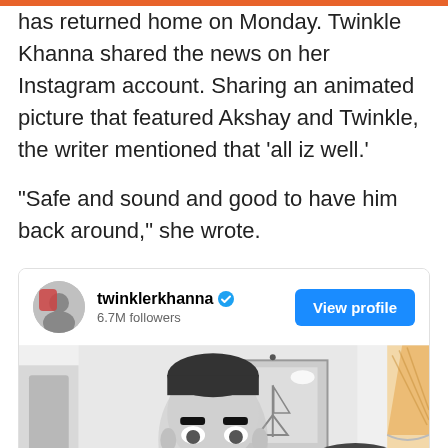has returned home on Monday. Twinkle Khanna shared the news on her Instagram account. Sharing an animated picture that featured Akshay and Twinkle, the writer mentioned that 'all iz well.' "Safe and sound and good to have him back around," she wrote.
[Figure (screenshot): Instagram post card for twinklerkhanna with 6.7M followers, a View profile button, and an animated cartoon image of Akshay Kumar and Twinkle Khanna]